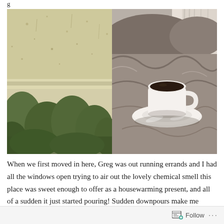[Figure (photo): Two side-by-side photos: left shows a rain-covered window with green bushes/plants visible outside in overcast light; right shows a white coffee cup and saucer sitting on brown wrinkled bedding near a window with curtains.]
When we first moved in here, Greg was out running errands and I had all the windows open trying to air out the lovely chemical smell this place was sweet enough to offer as a housewarming present, and all of a sudden it just started pouring! Sudden downpours make me giddy. That was, I
Follow ...